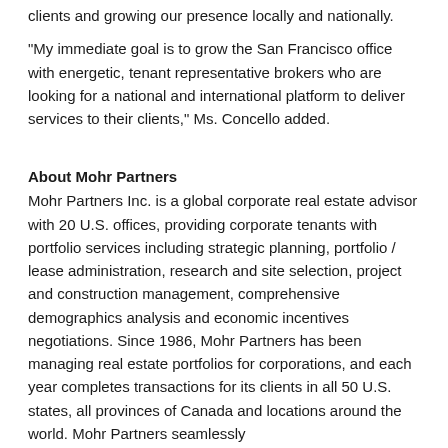clients and growing our presence locally and nationally.
“My immediate goal is to grow the San Francisco office with energetic, tenant representative brokers who are looking for a national and international platform to deliver services to their clients,” Ms. Concello added.
About Mohr Partners
Mohr Partners Inc. is a global corporate real estate advisor with 20 U.S. offices, providing corporate tenants with portfolio services including strategic planning, portfolio / lease administration, research and site selection, project and construction management, comprehensive demographics analysis and economic incentives negotiations. Since 1986, Mohr Partners has been managing real estate portfolios for corporations, and each year completes transactions for its clients in all 50 U.S. states, all provinces of Canada and locations around the world. Mohr Partners seamlessly